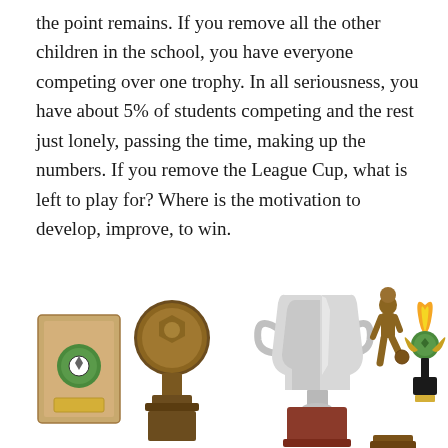the point remains. If you remove all the other children in the school, you have everyone competing over one trophy. In all seriousness, you have about 5% of students competing and the rest just lonely, passing the time, making up the numbers. If you remove the League Cup, what is left to play for? Where is the motivation to develop, improve, to win.
[Figure (photo): Five sports trophies and awards arranged side by side: a wooden plaque with soccer ball medallion on the far left, a bronze soccer ball trophy, a large silver cup trophy in the center on a wooden base, a bronze soccer player figurine, and a flame/torch styled trophy on the far right.]